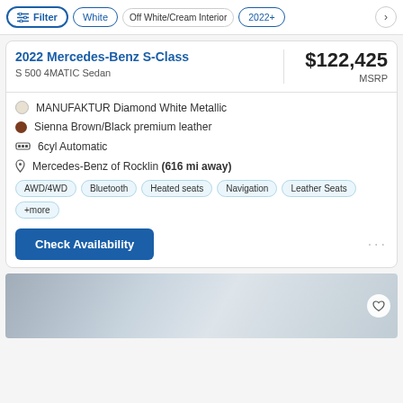Filter | White | Off White/Cream Interior | 2022+
2022 Mercedes-Benz S-Class
S 500 4MATIC Sedan
$122,425 MSRP
MANUFAKTUR Diamond White Metallic
Sienna Brown/Black premium leather
6cyl Automatic
Mercedes-Benz of Rocklin (616 mi away)
AWD/4WD  Bluetooth  Heated seats  Navigation  Leather Seats  +more
Check Availability
[Figure (photo): Bottom portion of a white Mercedes-Benz S-Class vehicle shown in a showroom setting]